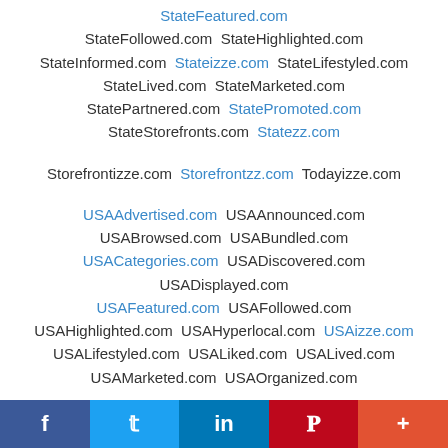StateFeatured.com StateFollowed.com StateHighlighted.com StateInformed.com Stateizze.com StateLifestyled.com StateLived.com StateMarketed.com StatePartnered.com StatePromoted.com StateStorefronts.com Statezz.com
Storefrontizze.com Storefrontzz.com Todayizze.com
USAAdvertised.com USAAnnounced.com USABrowsed.com USABundled.com USACategories.com USADiscovered.com USADisplayed.com USAFeatured.com USAFollowed.com USAHighlighted.com USAHyperlocal.com USAizze.com USALifestyled.com USALiked.com USALived.com USAMarketed.com USAOrganized.com
f  t  in  P  +